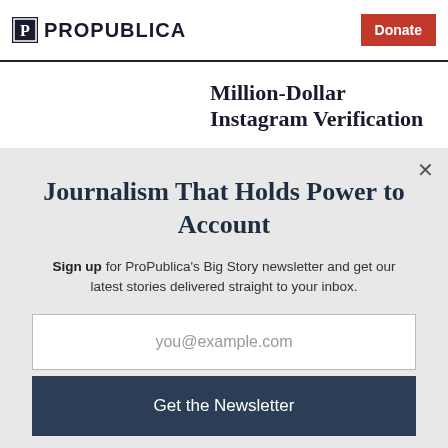ProPublica | Donate
Million-Dollar Instagram Verification
Journalism That Holds Power to Account
Sign up for ProPublica's Big Story newsletter and get our latest stories delivered straight to your inbox.
you@example.com
Get the Newsletter
No thanks, I'm all set
This site is protected by reCAPTCHA and the Google Privacy Policy and Terms of Service apply.